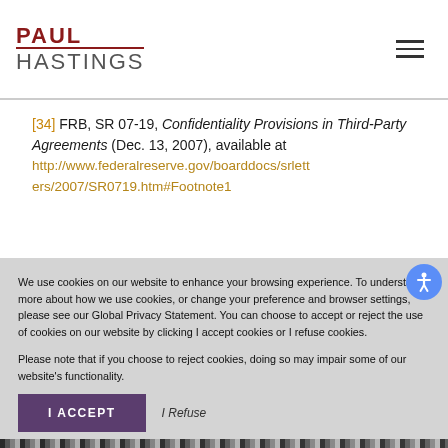PAUL HASTINGS
[34] FRB, SR 07-19, Confidentiality Provisions in Third-Party Agreements (Dec. 13, 2007), available at http://www.federalreserve.gov/boarddocs/srletters/2007/SR0719.htm#Footnote1
We use cookies on our website to enhance your browsing experience. To understand more about how we use cookies, or change your preference and browser settings, please see our Global Privacy Statement. You can choose to accept or reject the use of cookies on our website by clicking I accept cookies or I refuse cookies.

Please note that if you choose to reject cookies, doing so may impair some of our website's functionality.